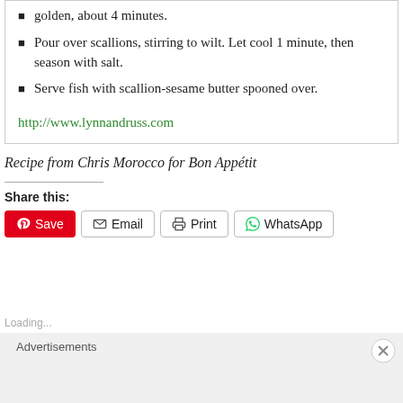golden, about 4 minutes.
Pour over scallions, stirring to wilt. Let cool 1 minute, then season with salt.
Serve fish with scallion-sesame butter spooned over.
http://www.lynnandruss.com
Recipe from Chris Morocco for Bon Appétit
Share this:
Save  Email  Print  WhatsApp
Advertisements